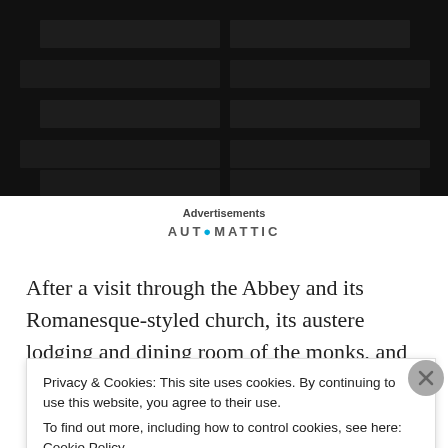[Figure (photo): Dark brick wall photo, partially visible at top of page]
Advertisements
AUTOMATTIC
After a visit through the Abbey and its Romanesque-styled church, its austere lodging and dining room of the monks, and its peaceful cloisters, we took a walk around the abbey and its
Privacy & Cookies: This site uses cookies. By continuing to use this website, you agree to their use.
To find out more, including how to control cookies, see here: Cookie Policy
Close and accept